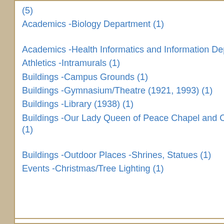(5)
Academics -Biology Department (1)
Academics -Health Informatics and Information Department (1)
Athletics -Intramurals (1)
Buildings -Campus Grounds (1)
Buildings -Gymnasium/Theatre (1921, 1993) (1)
Buildings -Library (1938) (1)
Buildings -Our Lady Queen of Peace Chapel and Cloister Walks (1938) (1)
Buildings -Outdoor Places -Shrines, Statues (1)
Events -Christmas/Tree Lighting (1)